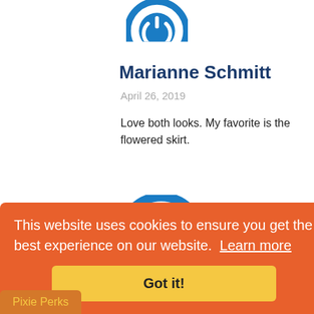[Figure (logo): Partially cropped circular blue power/avatar icon at the top of the page]
Marianne Schmitt
April 26, 2019
Love both looks. My favorite is the flowered skirt.
[Figure (logo): Full circular blue power button icon avatar]
This website uses cookies to ensure you get the best experience on our website. Learn more
Got it!
Pixie Perks